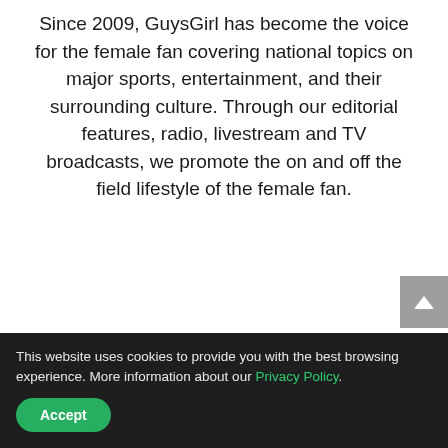Since 2009, GuysGirl has become the voice for the female fan covering national topics on major sports, entertainment, and their surrounding culture. Through our editorial features, radio, livestream and TV broadcasts, we promote the on and off the field lifestyle of the female fan.
This website uses cookies to provide you with the best browsing experience. More information about our Privacy Policy.